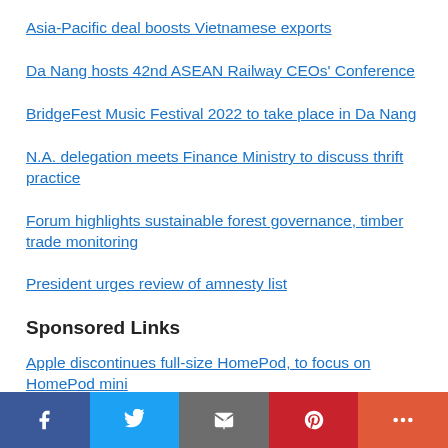Asia-Pacific deal boosts Vietnamese exports
Da Nang hosts 42nd ASEAN Railway CEOs' Conference
BridgeFest Music Festival 2022 to take place in Da Nang
N.A. delegation meets Finance Ministry to discuss thrift practice
Forum highlights sustainable forest governance, timber trade monitoring
President urges review of amnesty list
Sponsored Links
Apple discontinues full-size HomePod, to focus on HomePod mini
Social share bar: Facebook, Twitter, Email, Pinterest, More